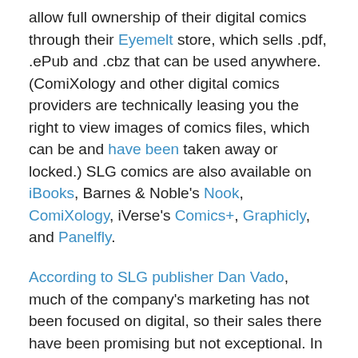allow full ownership of their digital comics through their Eyemelt store, which sells .pdf, .ePub and .cbz that can be used anywhere. (ComiXology and other digital comics providers are technically leasing you the right to view images of comics files, which can be and have been taken away or locked.) SLG comics are also available on iBooks, Barnes & Noble's Nook, ComiXology, iVerse's Comics+, Graphicly, and Panelfly.
According to SLG publisher Dan Vado, much of the company's marketing has not been focused on digital, so their sales there have been promising but not exceptional. In fact, in a surprising break from the above trend, Vado was willing to make public some of the company's digital comics sales figures.
The best selling downloadable comic we have had is The